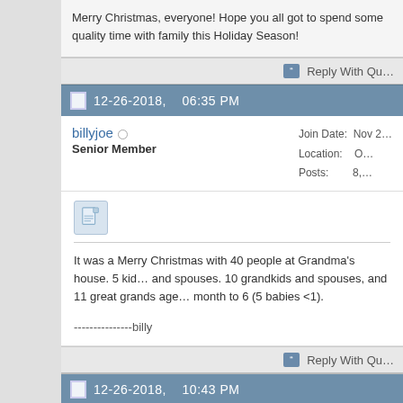Merry Christmas, everyone! Hope you all got to spend some quality time with family this Holiday Season!
Reply With Quote
12-26-2018, 06:35 PM
billyjoe
Senior Member
Join Date: Nov 2...
Location: O...
Posts: 8,...
It was a Merry Christmas with 40 people at Grandma's house. 5 kids and spouses. 10 grandkids and spouses, and 11 great grands age 1 month to 6 (5 babies <1).

---------------billy
Reply With Quote
12-26-2018, 10:43 PM